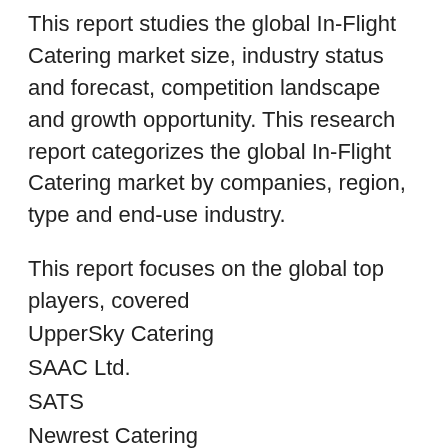This report studies the global In-Flight Catering market size, industry status and forecast, competition landscape and growth opportunity. This research report categorizes the global In-Flight Catering market by companies, region, type and end-use industry.
This report focuses on the global top players, covered
UpperSky Catering
SAAC Ltd.
SATS
Newrest Catering
Journey Group Pls.
LSG Sky Chefs
Gate Gourmet
Emirates Flight Catering